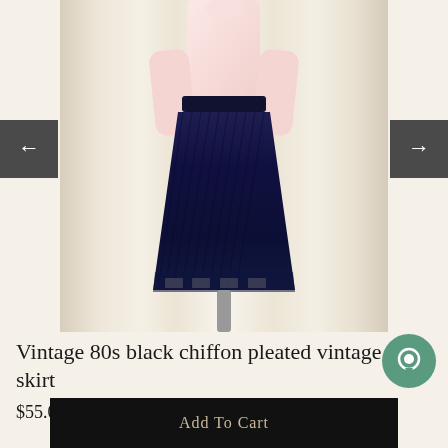[Figure (photo): A navy/dark blue pleated chiffon skirt worn on a mannequin. The model also wears a light pink blouse. The skirt has a sheer hem layer at the bottom. Background is a cream-colored curtain/drape. Navigation arrows on left and right sides.]
Vintage 80s black chiffon pleated vintage skirt
$55.00 USD